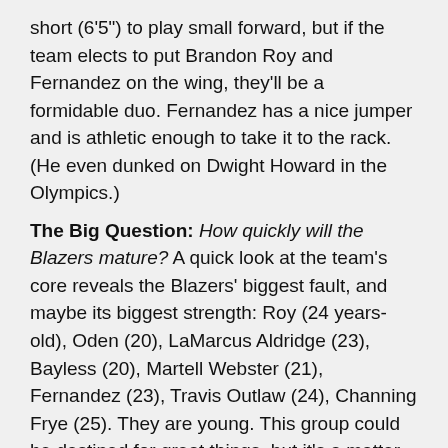short (6'5") to play small forward, but if the team elects to put Brandon Roy and Fernandez on the wing, they'll be a formidable duo. Fernandez has a nice jumper and is athletic enough to take it to the rack. (He even dunked on Dwight Howard in the Olympics.)
The Big Question: How quickly will the Blazers mature? A quick look at the team's core reveals the Blazers' biggest fault, and maybe its biggest strength: Roy (24 years-old), Oden (20), LaMarcus Aldridge (23), Bayless (20), Martell Webster (21), Fernandez (23), Travis Outlaw (24), Channing Frye (25). They are young. This group could be destined for great things, but it's a matter of experience and maturity.
Outlook: Bright. Kevin Pritchard has done a wonderful job remaking this roster in short order. The coup was landing Brandon Roy, who turned out to be an All-Star caliber guard. Obviously, the addition of Greg Oden (assuming he